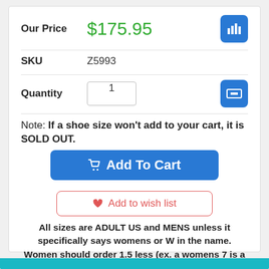Our Price  $175.95
SKU  Z5993
Quantity  1
Note: If a shoe size won't add to your cart, it is SOLD OUT.
Add To Cart
Add to wish list
All sizes are ADULT US and MENS unless it specifically says womens or W in the name. Women should order 1.5 less (ex. a womens 7 is a mens 5.5)